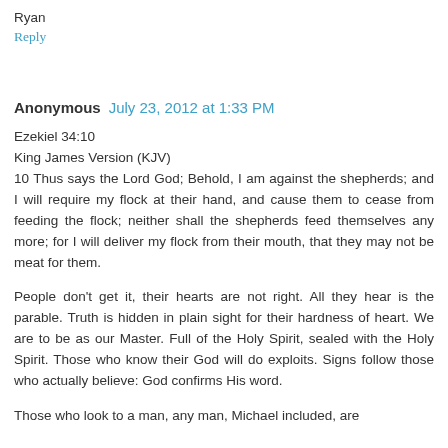Ryan
Reply
Anonymous  July 23, 2012 at 1:33 PM
Ezekiel 34:10
King James Version (KJV)
10 Thus says the Lord God; Behold, I am against the shepherds; and I will require my flock at their hand, and cause them to cease from feeding the flock; neither shall the shepherds feed themselves any more; for I will deliver my flock from their mouth, that they may not be meat for them.
People don't get it, their hearts are not right. All they hear is the parable. Truth is hidden in plain sight for their hardness of heart. We are to be as our Master. Full of the Holy Spirit, sealed with the Holy Spirit. Those who know their God will do exploits. Signs follow those who actually believe: God confirms His word.
Those who look to a man, any man, Michael included, are